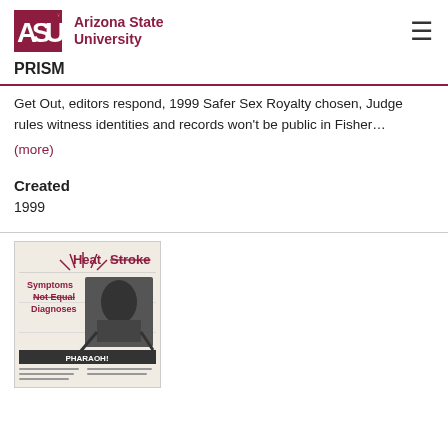ASU Arizona State University
PRISM
Get Out, editors respond, 1999 Safer Sex Royalty chosen, Judge rules witness identities and records won't be public in Fisher…
(more)
Created
1999
[Figure (photo): Thumbnail image of a newspaper page titled 'HeatStroke' with red and dark text, showing headlines and a photo of a person]